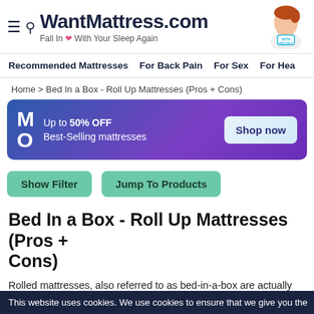WantMattress.com — Fall In ♥ With Your Sleep Again
Recommended Mattresses | For Back Pain | For Sex | For Hea...
Home > Bed In a Box - Roll Up Mattresses (Pros + Cons)
[Figure (infographic): Promotional banner: Up to 50% OFF Best-Selling mattresses. Shop now button. Purple/blue gradient background with MO letters.]
[Figure (infographic): Two teal rounded-rectangle buttons: 'Show Filter' and 'Jump To Products']
Bed In a Box - Roll Up Mattresses (Pros + Cons)
Rolled mattresses, also referred to as bed-in-a-box are actually not a new phenomenon and have been an efficient and cheap way to transport mattresses while saving on costs. It is only since 2015, with the rise in
This website uses cookies. We use cookies to ensure that we give you the